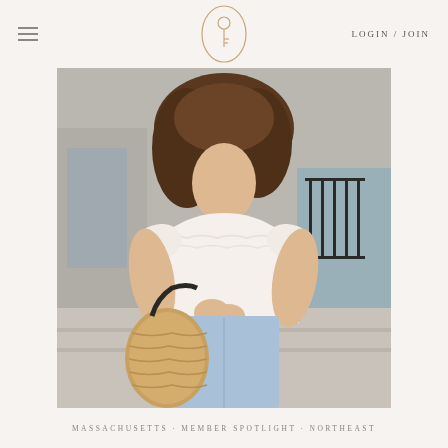LOGIN / JOIN
[Figure (photo): Woman wearing white ruffled crop top and light wash jeans, holding a woven straw basket bag, standing outdoors near a building with black iron railings]
MASSACHUSETTS · MEMBER SPOTLIGHT · NORTHEAST